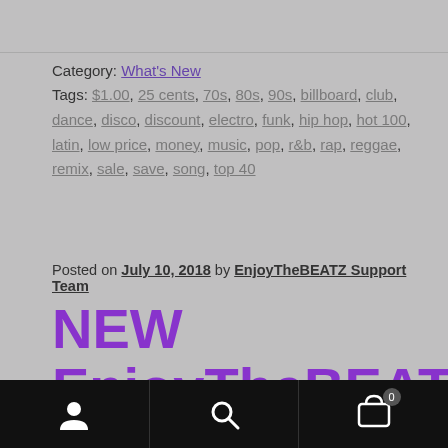Category: What's New
Tags: $1.00, 25 cents, 70s, 80s, 90s, billboard, club, dance, disco, discount, electro, funk, hip hop, hot 100, latin, low price, money, music, pop, r&b, rap, reggae, remix, sale, save, song, top 40
Posted on July 10, 2018 by EnjoyTheBEATZ Support Team
NEW EnjoyTheBEATZ.com Live
navigation bar with user, search, and cart icons